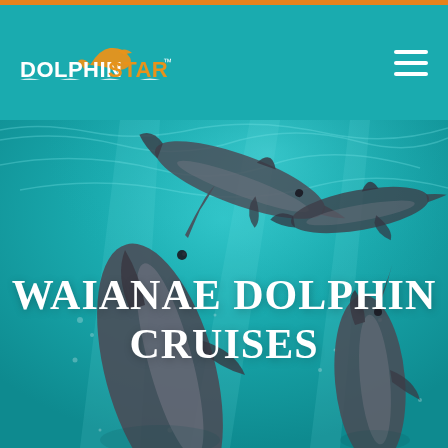[Figure (logo): Dolphin Star logo with dolphin icon, white DOLPHIN text, orange STAR text, wavy underline, and TM mark on teal background header with hamburger menu icon]
[Figure (photo): Underwater photo of dolphins swimming in teal/turquoise ocean water, viewed from below and side, multiple dolphins visible]
WAIANAE DOLPHIN CRUISES